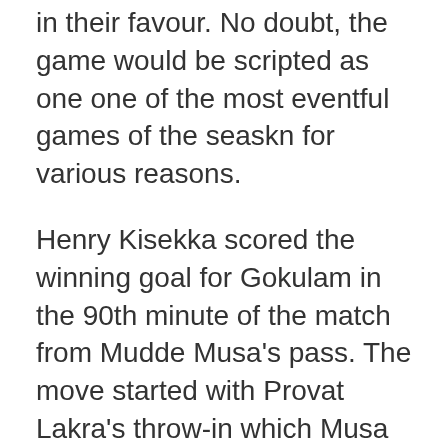in their favour. No doubt, the game would be scripted as one one of the most eventful games of the seaskn for various reasons.
Henry Kisekka scored the winning goal for Gokulam in the 90th minute of the match from Mudde Musa's pass. The move started with Provat Lakra's throw-in which Musa received. The midfielder sent a through ball for Kisekka who took one touch and slotted the ball home with a volley.
Mote Provat Lakra also called...